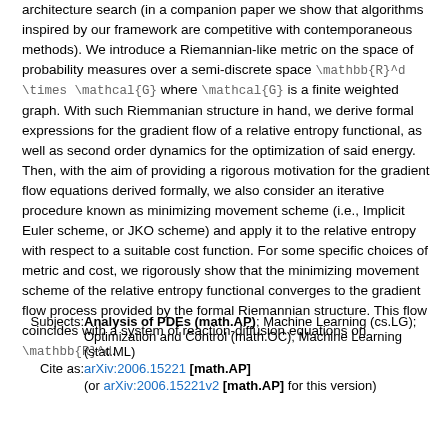architecture search (in a companion paper we show that algorithms inspired by our framework are competitive with contemporaneous methods). We introduce a Riemannian-like metric on the space of probability measures over a semi-discrete space \mathbb{R}^d \times \mathcal{G} where \mathcal{G} is a finite weighted graph. With such Riemmanian structure in hand, we derive formal expressions for the gradient flow of a relative entropy functional, as well as second order dynamics for the optimization of said energy. Then, with the aim of providing a rigorous motivation for the gradient flow equations derived formally, we also consider an iterative procedure known as minimizing movement scheme (i.e., Implicit Euler scheme, or JKO scheme) and apply it to the relative entropy with respect to a suitable cost function. For some specific choices of metric and cost, we rigorously show that the minimizing movement scheme of the relative entropy functional converges to the gradient flow process provided by the formal Riemannian structure. This flow coincides with a system of reaction-diffusion equations on \mathbb{R}^d.
Subjects: Analysis of PDEs (math.AP); Machine Learning (cs.LG); Optimization and Control (math.OC); Machine Learning (stat.ML)
Cite as: arXiv:2006.15221 [math.AP] (or arXiv:2006.15221v2 [math.AP] for this version)